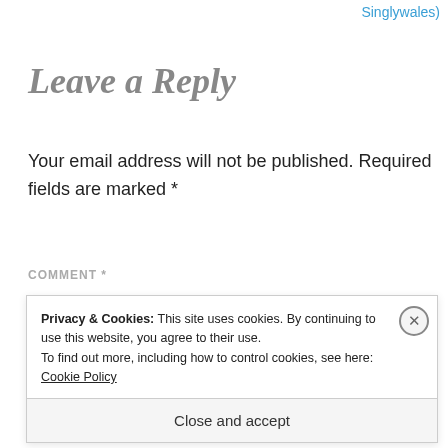Singlywales)
Leave a Reply
Your email address will not be published. Required fields are marked *
COMMENT *
Privacy & Cookies: This site uses cookies. By continuing to use this website, you agree to their use.
To find out more, including how to control cookies, see here: Cookie Policy
Close and accept
AIRPORT_1105.40